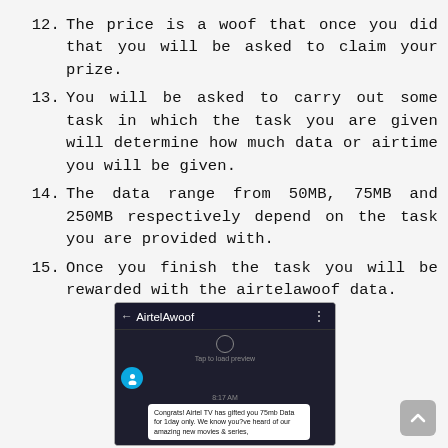12. The price is a woof that once you did that you will be asked to claim your prize.
13. You will be asked to carry out some task in which the task you are given will determine how much data or airtime you will be given.
14. The data range from 50MB, 75MB and 250MB respectively depend on the task you are provided with.
15. Once you finish the task you will be rewarded with the airtelawoof data.
[Figure (screenshot): Screenshot of AirtelAwoof chat message: Congrats! Airtel TV has gifted you 75mb Data for 1day only. We know you?ve heard of our amazing new movies & series,]